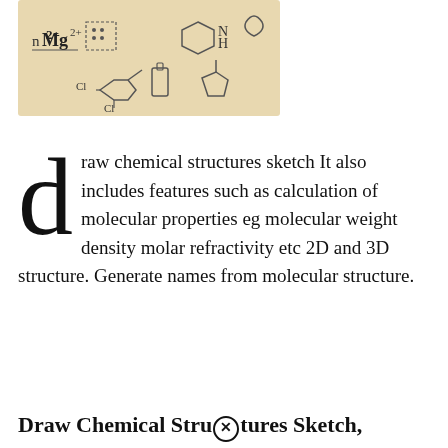[Figure (illustration): Chemical structures illustration on a tan/beige background showing various chemical symbols and structural drawings including Mg2+ ion, benzene ring, NH group, chlorinated benzene with Cl labels, a bottle, a water drop, and a cyclopentane ring with substituents.]
draw chemical structures sketch It also includes features such as calculation of molecular properties eg molecular weight density molar refractivity etc 2D and 3D structure. Generate names from molecular structure.
Draw Chemical Structures Sketch,